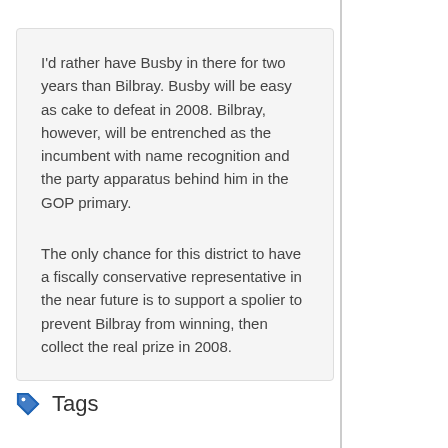I'd rather have Busby in there for two years than Bilbray. Busby will be easy as cake to defeat in 2008. Bilbray, however, will be entrenched as the incumbent with name recognition and the party apparatus behind him in the GOP primary.
The only chance for this district to have a fiscally conservative representative in the near future is to support a spolier to prevent Bilbray from winning, then collect the real prize in 2008.
Tags